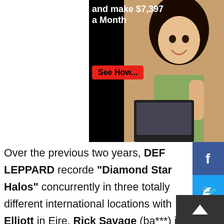[Figure (photo): Advertisement banner showing a woman smiling at a laptop with text 'and make $7,397 a Month' and a 'See How...' red button]
Over the previous two years, DEF LEPPARD recorded "Diamond Star Halos" concurrently in three totally different international locations with Elliott in Eire, Rick Savage (ba***) in England, and Phil Collen (guitar),Vivian Campbell (guitar) and Rick Allen (drums) in the US. With out the stress of timelines or set schedule, they poured all of their vitality into crafting 15 significant tracks with a mix of traditional spirit meets trendy fireplace. Thematically, they nodded to their earliest collective influences equivalent to David Bowie, T.REX and MOTT THE HOOPLE amongst others. The title itself notably references